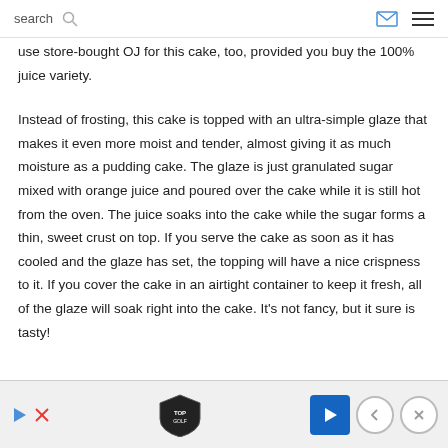search
use store-bought OJ for this cake, too, provided you buy the 100% juice variety.
Instead of frosting, this cake is topped with an ultra-simple glaze that makes it even more moist and tender, almost giving it as much moisture as a pudding cake. The glaze is just granulated sugar mixed with orange juice and poured over the cake while it is still hot from the oven. The juice soaks into the cake while the sugar forms a thin, sweet crust on top. If you serve the cake as soon as it has cooled and the glaze has set, the topping will have a nice crispness to it. If you cover the cake in an airtight container to keep it fresh, all of the glaze will soak right into the cake. It's not fancy, but it sure is tasty!
[Figure (infographic): Advertisement banner with TopGolf logo, blue navigation arrow icon, close button, and back arrow button]